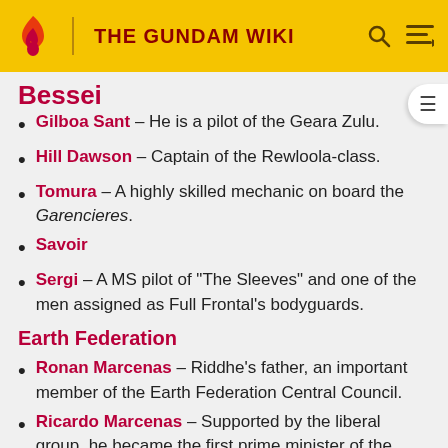THE GUNDAM WIKI
(partially visible section header, clipped at top)
Gilboa Sant - He is a pilot of the Geara Zulu.
Hill Dawson - Captain of the Rewloola-class.
Tomura - A highly skilled mechanic on board the Garencieres.
Savoir
Sergi - A MS pilot of "The Sleeves" and one of the men assigned as Full Frontal's bodyguards.
Earth Federation
Ronan Marcenas - Riddhe's father, an important member of the Earth Federation Central Council.
Ricardo Marcenas - Supported by the liberal group, he became the first prime minister of the Federal Government.
Forth Federation Forces